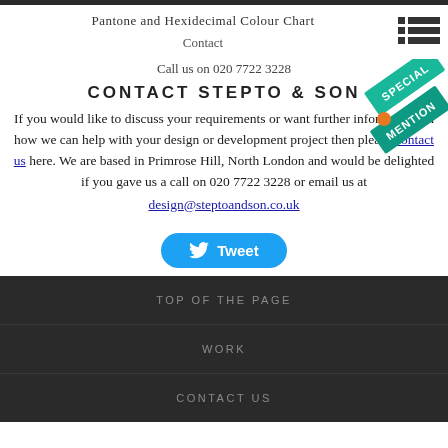Pantone and Hexidecimal Colour Chart
Contact
Call us on 020 7722 3228
CONTACT STEPTO & SON
If you would like to discuss your requirements or want further information on how we can help with your design or development project then please contact us here. We are based in Primrose Hill, North London and would be delighted if you gave us a call on 020 7722 3228 or email us at design@steptoandson.co.uk
[Figure (illustration): Special Mention green ribbon badge in top-right corner]
[Figure (other): Tweet button — blue rounded button with Twitter bird icon and 'Tweet' label]
TOP OF THE PAGE
WORK
CONTACT US